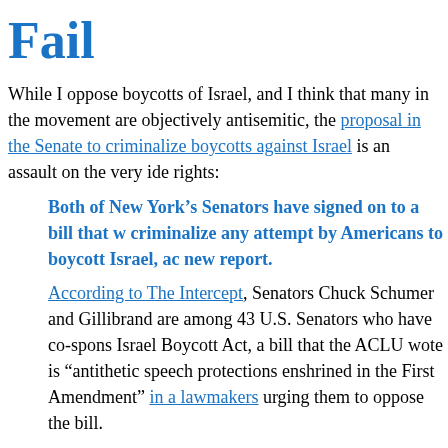Fail
While I oppose boycotts of Israel, and I think that many in the movement are objectively antisemitic, the proposal in the Senate to criminalize boycotts against Israel is an assault on the very idea of rights:
Both of New York’s Senators have signed on to a bill that would criminalize any attempt by Americans to boycott Israel, according to a new report.
According to The Intercept, Senators Chuck Schumer and Gillibrand are among 43 U.S. Senators who have co-sponsored the Israel Boycott Act, a bill that the ACLU wote is “antithetical to free speech protections enshrined in the First Amendment” in a letter to lawmakers urging them to oppose the bill.
The Senate bill appears to target the Boycott, Divest and Sanction movement that seeks to pressure Israel to end its occupation of the West Bank and Gaza Strip through economic isolation. Under the Senate bill, a pair of U.S. laws that prohibit U.S. citizens from supporting